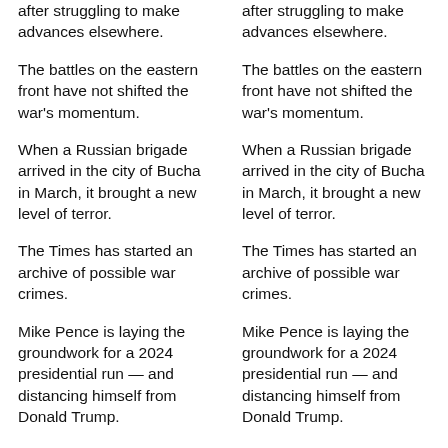after struggling to make advances elsewhere.
after struggling to make advances elsewhere.
The battles on the eastern front have not shifted the war's momentum.
The battles on the eastern front have not shifted the war's momentum.
When a Russian brigade arrived in the city of Bucha in March, it brought a new level of terror.
When a Russian brigade arrived in the city of Bucha in March, it brought a new level of terror.
The Times has started an archive of possible war crimes.
The Times has started an archive of possible war crimes.
Mike Pence is laying the groundwork for a 2024 presidential run — and distancing himself from Donald Trump.
Mike Pence is laying the groundwork for a 2024 presidential run — and distancing himself from Donald Trump.
Democrats have divergent
Democrats have divergent